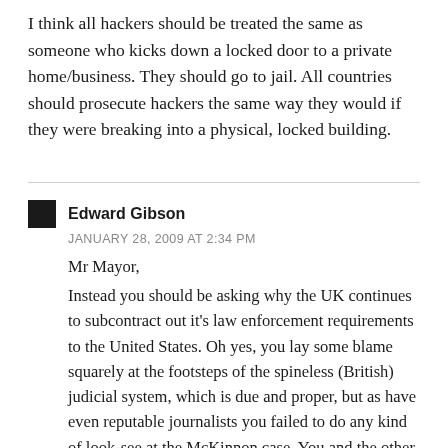I think all hackers should be treated the same as someone who kicks down a locked door to a private home/business. They should go to jail. All countries should prosecute hackers the same way they would if they were breaking into a physical, locked building.
Edward Gibson
JANUARY 28, 2009 AT 2:34 PM
Mr Mayor,
Instead you should be asking why the UK continues to subcontract out it's law enforcement requirements to the United States. Oh yes, you lay some blame squarely at the footsteps of the spineless (British) judicial system, which is due and proper, but as have even reputable journalists you failed to do any kind of look-see at the McKinnon case. You and the other 'copy what they say because it has to be true' elites not once have noted that the US judicial system is transparent. You can go online nowadays to find